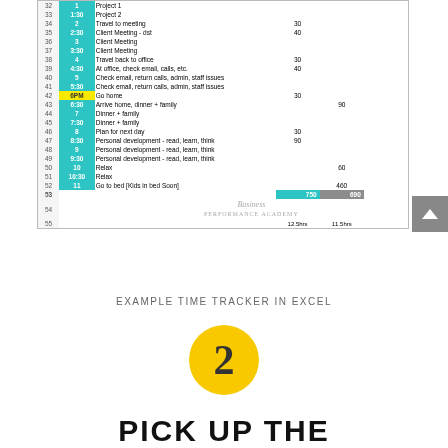[Figure (screenshot): Excel time tracker spreadsheet showing rows 32-42 with times, activities, and minute columns. Total row shows 750 and 690, summary row shows 12.5hrs and 11.5hrs.]
EXAMPLE TIME TRACKER IN EXCEL
[Figure (infographic): Yellow circle with number 2 in bold]
PICK UP THE